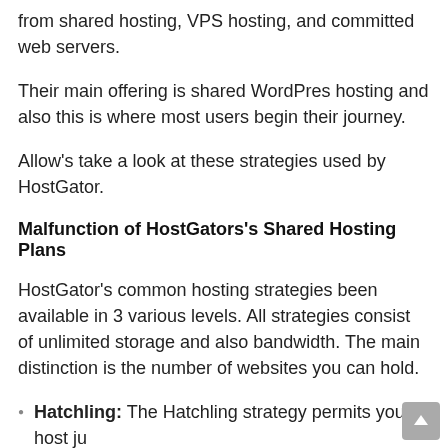from shared hosting, VPS hosting, and committed web servers.
Their main offering is shared WordPres hosting and also this is where most users begin their journey.
Allow's take a look at these strategies used by HostGator.
Malfunction of HostGators's Shared Hosting Plans
HostGator's common hosting strategies been available in 3 various levels. All strategies consist of unlimited storage and also bandwidth. The main distinction is the number of websites you can hold.
Hatchling: The Hatchling strategy permits you to host just